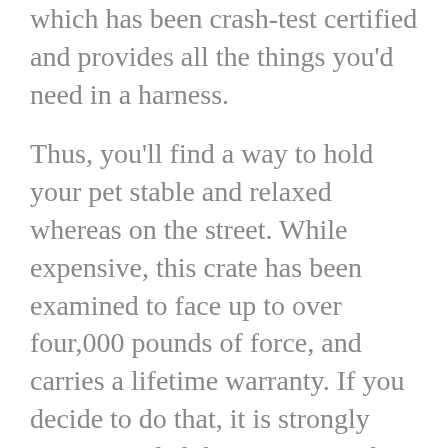which has been crash-test certified and provides all the things you'd need in a harness.
Thus, you'll find a way to hold your pet stable and relaxed whereas on the street. While expensive, this crate has been examined to face up to over four,000 pounds of force, and carries a lifetime warranty. If you decide to do that, it is strongly recommended that you move the passenger seat as far again as it may possibly go and that you simply disable any passenger air luggage. Air bag deployment could cause serious harm to death each to small canines and youngsters. The Canadian Automobile Association discovered